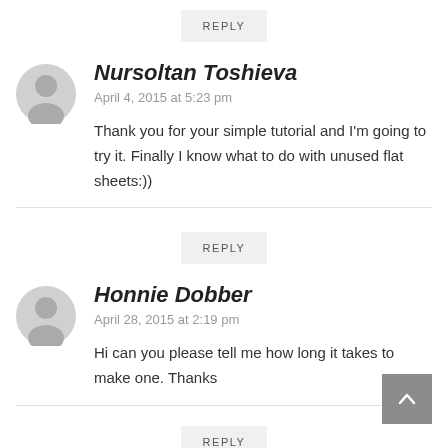REPLY
Nursoltan Toshieva
April 4, 2015 at 5:23 pm
Thank you for your simple tutorial and I'm going to try it. Finally I know what to do with unused flat sheets:))
REPLY
Honnie Dobber
April 28, 2015 at 2:19 pm
Hi can you please tell me how long it takes to make one. Thanks
REPLY